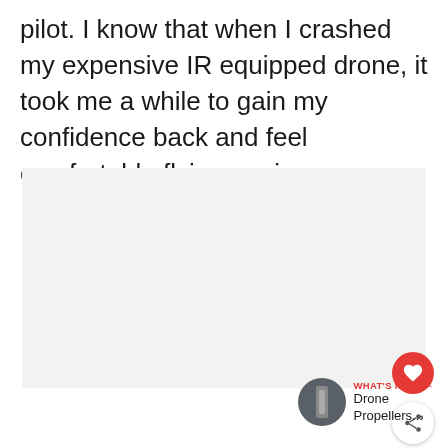pilot. I know that when I crashed my expensive IR equipped drone, it took me a while to gain my confidence back and feel comfortable flying again.
[Figure (other): Light gray rectangular image placeholder area]
[Figure (other): Red circular heart/favorite button icon]
[Figure (other): White circular share button icon]
[Figure (other): What's Next thumbnail and label showing Drone Propellers...]